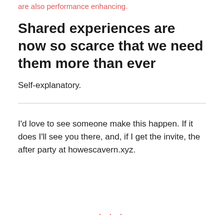are also performance enhancing.
Shared experiences are now so scarce that we need them more than ever
Self-explanatory.
I'd love to see someone make this happen. If it does I'll see you there, and, if I get the invite, the after party at howescavern.xyz.
· · ·